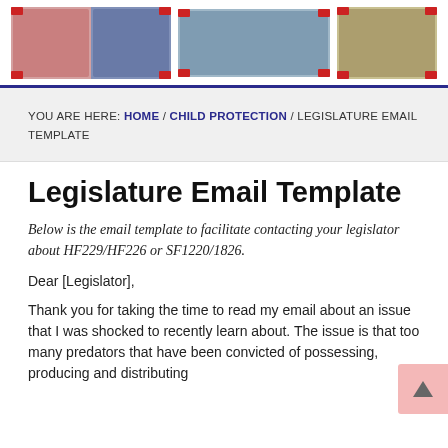[Figure (photo): Banner with three photo collages of people/children]
YOU ARE HERE: HOME / CHILD PROTECTION / LEGISLATURE EMAIL TEMPLATE
Legislature Email Template
Below is the email template to facilitate contacting your legislator about HF229/HF226 or SF1220/1826.
Dear [Legislator],
Thank you for taking the time to read my email about an issue that I was shocked to recently learn about. The issue is that too many predators that have been convicted of possessing, producing and distributing